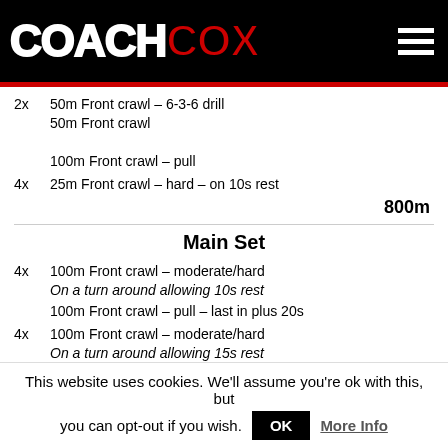COACH COX
2x  50m Front crawl – 6-3-6 drill
50m Front crawl

100m Front crawl – pull
4x  25m Front crawl – hard – on 10s rest
800m
Main Set
4x  100m Front crawl – moderate/hard
On a turn around allowing 10s rest

100m Front crawl – pull – last in plus 20s
4x  100m Front crawl – moderate/hard
On a turn around allowing 15s rest

100m Front crawl – pull – last in plus 20s
100m Front crawl – moderate/hard
This website uses cookies. We'll assume you're ok with this, but you can opt-out if you wish.